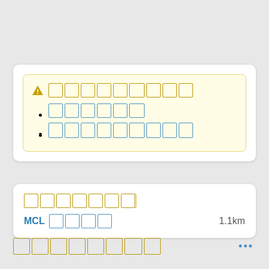[Warning heading with CJK characters]
[CJK list item 1]
[CJK list item 2]
[CJK label text]
MCL [CJK text]   1.1km
[CJK section label]